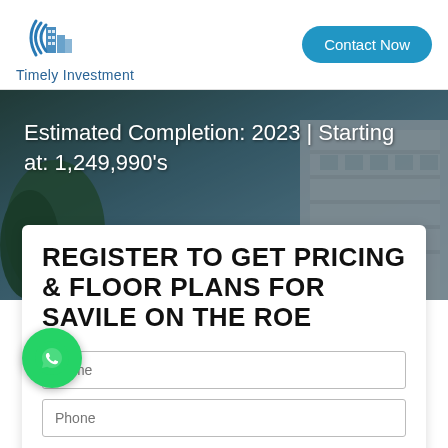[Figure (logo): Timely Investment company logo — blue stylized building/shield icon]
Timely Investment
Contact Now
[Figure (photo): Background photo of modern residential/commercial building exterior with glass balconies and green trees, dark overlay]
Estimated Completion: 2023 | Starting at: 1,249,990's
REGISTER TO GET PRICING & FLOOR PLANS FOR SAVILE ON THE ROE
Name
Phone
[Figure (illustration): Green WhatsApp circle button with phone/chat icon]